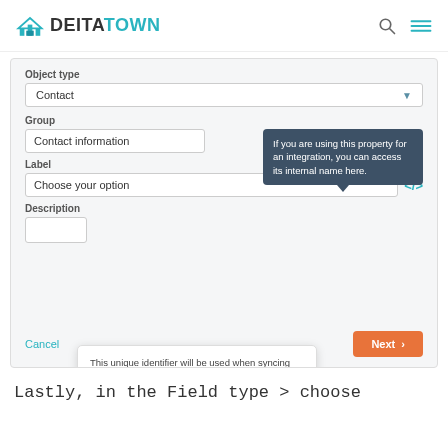[Figure (screenshot): DeitaTown website header with logo and navigation icons]
[Figure (screenshot): UI screenshot showing a form with Object type dropdown set to Contact, Group field with Contact information, Label field with Choose your option, a tooltip bubble saying If you are using this property for an integration you can access its internal name here, an Internal name popup with input showing your-option, Save and Cancel buttons, and a bottom bar with Cancel link and Next button]
Lastly, in the Field type > choose